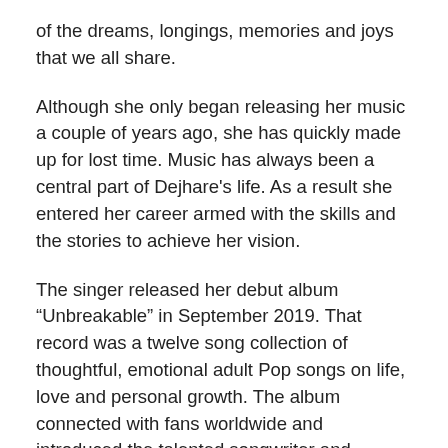of the dreams, longings, memories and joys that we all share.
Although she only began releasing her music a couple of years ago, she has quickly made up for lost time. Music has always been a central part of Dejhare's life. As a result she entered her career armed with the skills and the stories to achieve her vision.
The singer released her debut album “Unbreakable” in September 2019. That record was a twelve song collection of thoughtful, emotional adult Pop songs on life, love and personal growth. The album connected with fans worldwide and introduced the talented songwriter and musician to the music world. After just a few short months she already counts her fans in the tens of thousands.